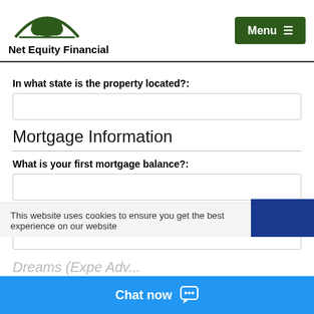Net Equity Financial | Menu
In what state is the property located?:
Mortgage Information
What is your first mortgage balance?:
What is your second mortgage balance?:
This website uses cookies to ensure you get the best experience on our website
Chat now